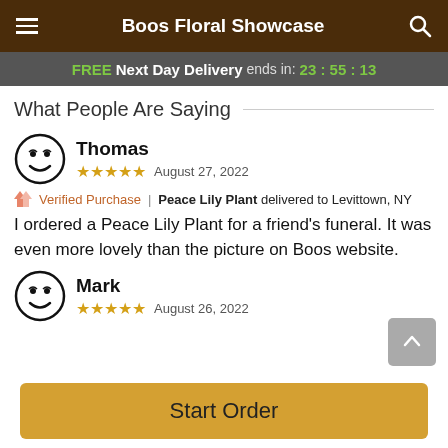Boos Floral Showcase
FREE Next Day Delivery ends in: 23:55:13
What People Are Saying
Thomas
★★★★★  August 27, 2022
Verified Purchase | Peace Lily Plant delivered to Levittown, NY
I ordered a Peace Lily Plant for a friend's funeral. It was even more lovely than the picture on Boos website.
Mark
★★★★★  August 26, 2022
Start Order